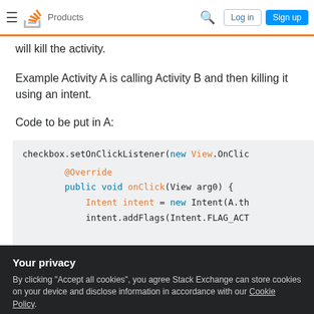Stack Overflow navigation with Products, Log in, Sign up
will kill the activity.
Example Activity A is calling Activity B and then killing it using an intent.
Code to be put in A:
[Figure (screenshot): Code block showing checkbox.setOnClickListener(new View.OnClic... with @Override, public void onClick(View arg0) {, Intent intent = new Intent(A.th, intent.addFlags(Intent.FLAG_ACT]
Your privacy
By clicking "Accept all cookies", you agree Stack Exchange can store cookies on your device and disclose information in accordance with our Cookie Policy.
Accept all cookies | Customize settings
startActivity(intent);